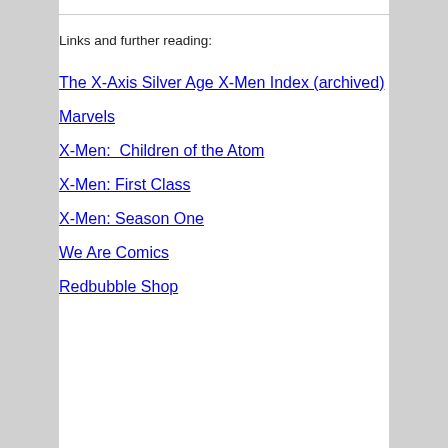Links and further reading:
The X-Axis Silver Age X-Men Index (archived)
Marvels
X-Men:  Children of the Atom
X-Men: First Class
X-Men: Season One
We Are Comics
Redbubble Shop